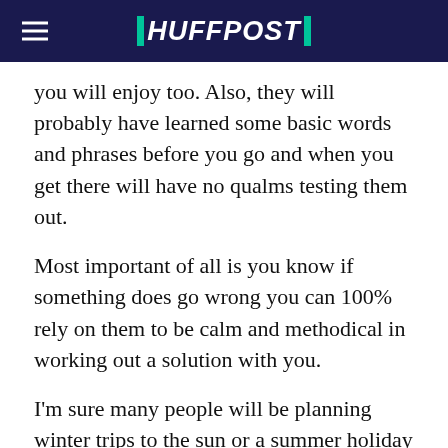HUFFPOST
you will enjoy too. Also, they will probably have learned some basic words and phrases before you go and when you get there will have no qualms testing them out.
Most important of all is you know if something does go wrong you can 100% rely on them to be calm and methodical in working out a solution with you.
I'm sure many people will be planning winter trips to the sun or a summer holiday with their loved ones, family or friends. I would say it is always a good idea to identify which category your travel companion/s fall under before you go and work out how you're